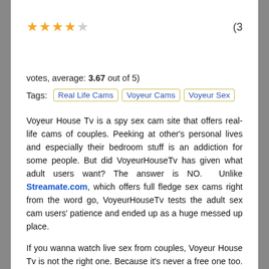[Figure (other): Star rating: 3.5 out of 5 stars (4 stars shown, last one half/empty), with text '(3' visible on the right]
votes, average: 3.67 out of 5)
Tags: Real Life Cams | Voyeur Cams | Voyeur Sex
Voyeur House Tv is a spy sex cam site that offers real-life cams of couples. Peeking at other's personal lives and especially their bedroom stuff is an addiction for some people. But did VoyeurHouseTv has given what adult users want? The answer is NO. Unlike Streamate.com, which offers full fledge sex cams right from the word go, VoyeurHouseTv tests the adult sex cam users' patience and ended up as a huge messed up place.
If you wanna watch live sex from couples, Voyeur House Tv is not the right one. Because it's never a free one too. But check Streamate (review at the link) for example, users can watch thousands & thousands of free sex cams of girls, couples, etc.